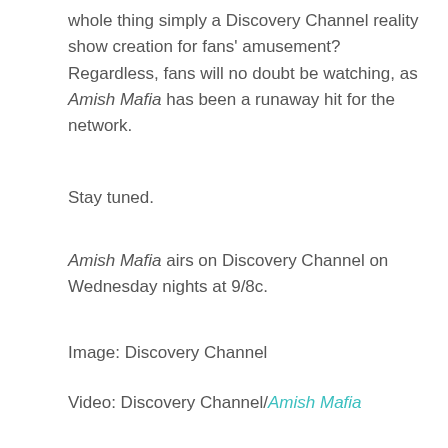whole thing simply a Discovery Channel reality show creation for fans' amusement? Regardless, fans will no doubt be watching, as Amish Mafia has been a runaway hit for the network.
Stay tuned.
Amish Mafia airs on Discovery Channel on Wednesday nights at 9/8c.
Image: Discovery Channel
Video: Discovery Channel/Amish Mafia
News Opinion
Add new comment
Comments